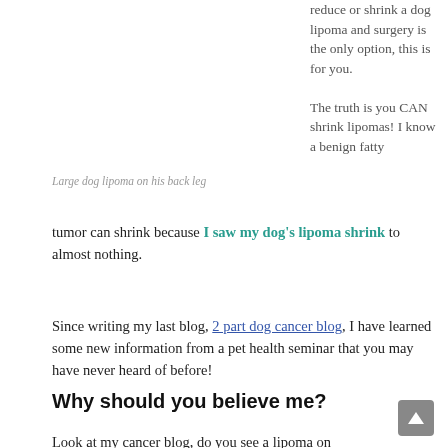reduce or shrink a dog lipoma and surgery is the only option, this is for you.
The truth is you CAN shrink lipomas! I know a benign fatty tumor can shrink because I saw my dog's lipoma shrink to almost nothing.
Large dog lipoma on his back leg
Since writing my last blog, 2 part dog cancer blog, I have learned some new information from a pet health seminar that you may have never heard of before!
Why should you believe me?
Look at my cancer blog, do you see a lipoma on